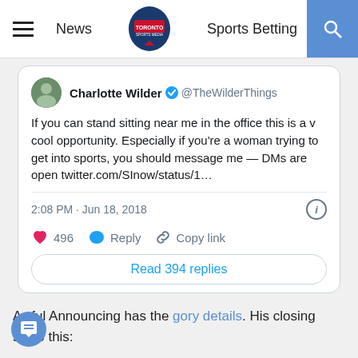News | Toronto Sports Media | Sports Betting
[Figure (screenshot): Embedded tweet from Charlotte Wilder (@TheWilderThings) with text: If you can stand sitting near me in the office this is a v cool opportunity. Especially if you're a woman trying to get into sports, you should message me — DMs are open twitter.com/SInow/status/1... Posted 2:08 PM · Jun 18, 2018. 496 likes, Reply, Copy link, Read 394 replies.]
Awful Announcing has the gory details. His closing salvo this: